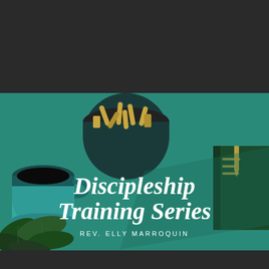[Figure (logo): Disciple Well logo with green leaf in circle and green bold text reading DISCIPLE WELL with TM mark]
[Figure (photo): Teal/green background with coffee cup, binder clips in bowl, green plant leaves, and green book. White script text reads 'Discipleship Training Series' with subtitle 'REV. ELLY MARROQUIN' in spaced caps below.]